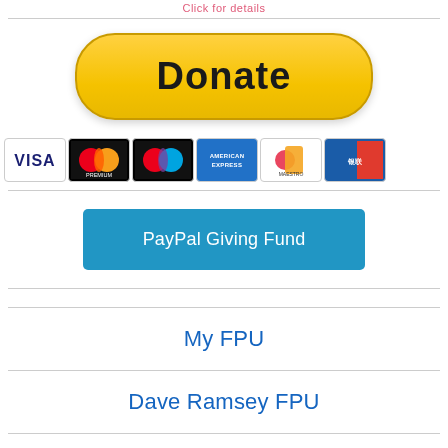Click for details
[Figure (other): PayPal Donate button - yellow rounded rectangle with black bold Donate text]
[Figure (other): Row of payment method logos: Visa, Mastercard (Premium), Mastercard, American Express, Maestro, UnionPay]
[Figure (other): PayPal Giving Fund blue button]
My FPU
Dave Ramsey FPU
Office 365